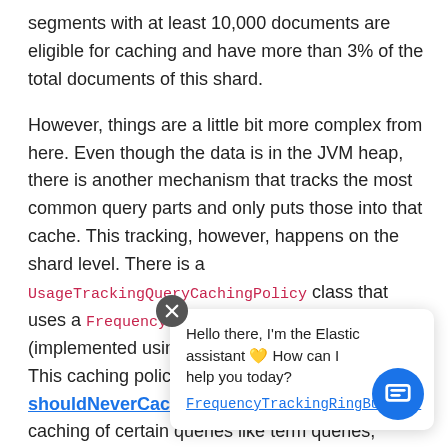segments with at least 10,000 documents are eligible for caching and have more than 3% of the total documents of this shard.
However, things are a little bit more complex from here. Even though the data is in the JVM heap, there is another mechanism that tracks the most common query parts and only puts those into that cache. This tracking, however, happens on the shard level. There is a UsageTrackingQueryCachingPolicy class that uses a FrequencyTrackingRingBuffer (implemented using fixed-size integer arrays). This caching policy also has additional rules in its shouldNeverCache method, which prevents caching of certain queries like term queries, match queries, as these are fast enough without caching and a condition for elig...